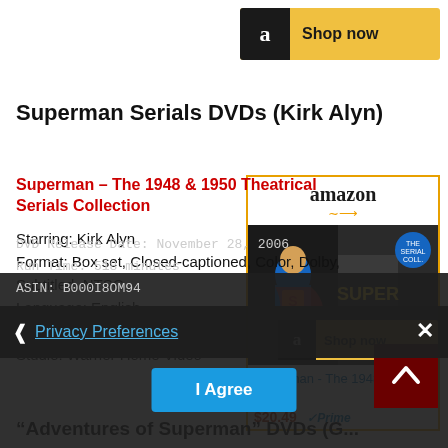[Figure (screenshot): Amazon 'Shop now' banner button at top right]
Superman Serials DVDs (Kirk Alyn)
[Figure (screenshot): Amazon product widget showing Superman - The 1948 & 1950 Theatrical Serials Collection DVD, priced at $20.49 with Prime]
Superman – The 1948 & 1950 Theatrical Serials Collection
Starring: Kirk Alyn
Format: Box set, Closed-captioned, Color, Dolby, Subtitled, NTSC
Language: English
Number of discs: 4
Studio: Warner Home Video
DVD Release Date: November 28, 2006
Run Time: 518 minutes
ASIN: B000I8OM94
[Figure (screenshot): Privacy Preferences overlay with 'I Agree' button and close X button]
“Adventures of Superman” DVDs (G...